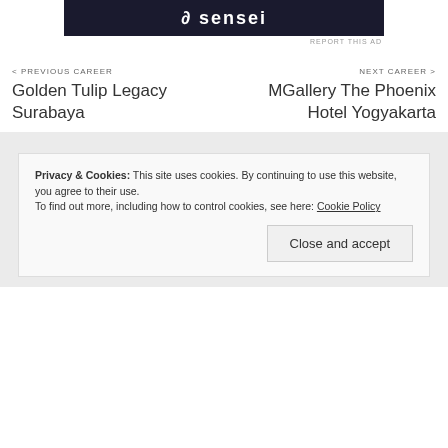[Figure (logo): Sensei logo banner with dark background]
REPORT THIS AD
< PREVIOUS CAREER
Golden Tulip Legacy Surabaya
NEXT CAREER >
MGallery The Phoenix Hotel Yogyakarta
Privacy & Cookies: This site uses cookies. By continuing to use this website, you agree to their use.
To find out more, including how to control cookies, see here: Cookie Policy
Close and accept